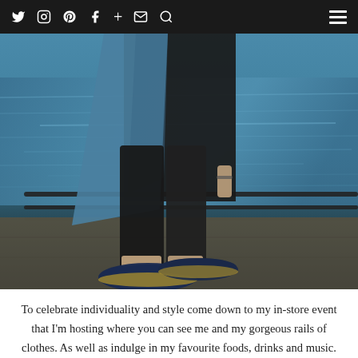Navigation bar with social icons: Twitter, Instagram, Pinterest, Facebook, Plus, Email, Search, and hamburger menu
[Figure (photo): Lower half of a person wearing black skinny jeans, a blue denim open shirt/top, and navy blue espadrille shoes, walking along a waterfront promenade with railings and blue-grey water visible in the background. The ground is concrete/stone.]
To celebrate individuality and style come down to my in-store event that I'm hosting where you can see me and my gorgeous rails of clothes. As well as indulge in my favourite foods, drinks and music. There's also going